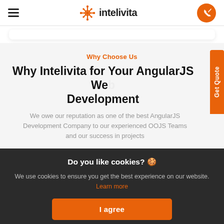intelivita
Why Choose Us
Why Intelivita for Your AngularJS Web Development
We owe our reputation as one of the best AngularJS Development Company to our experienced OOJS Teams and our success in projects
Do you like cookies? 🍪
We use cookies to ensure you get the best experience on our website. Learn more
I agree